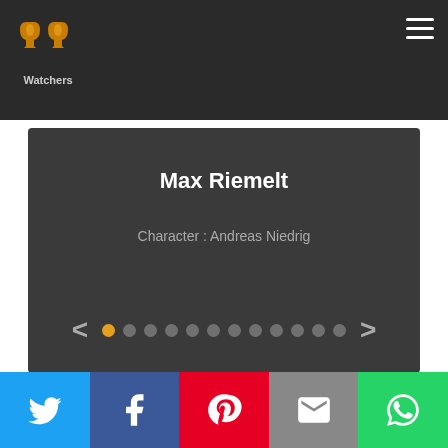[Figure (logo): PP Watchers logo in orange/yellow with text Watchers below]
Max Riemelt
Character : Andreas Niedrig
[Figure (other): Slider navigation with left arrow, 12 dots (first dot orange/active, rest grey), right arrow]
[Figure (other): Bottom content card area, dark grey background]
[Figure (infographic): Social share bar with Twitter, Facebook, Pinterest, Email, WhatsApp buttons]